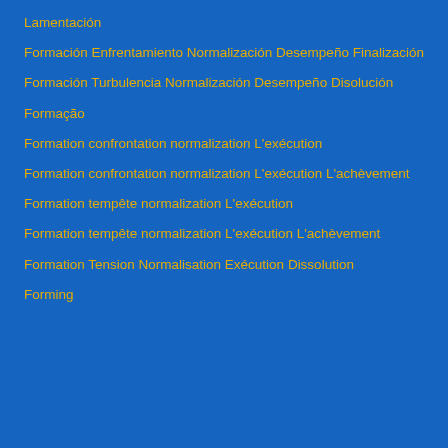Lamentación
Formación Enfrentamiento Normalización Desempeño Finalización
Formación Turbulencia Normalización Desempeño Disolución
Formação
Formation confrontation normalization L'exécution
Formation confrontation normalization L'exécution L'achèvement
Formation tempête normalization L'exécution
Formation tempête normalization L'exécution L'achèvement
Formation Tension Normalisation Exécution Dissolution
Forming